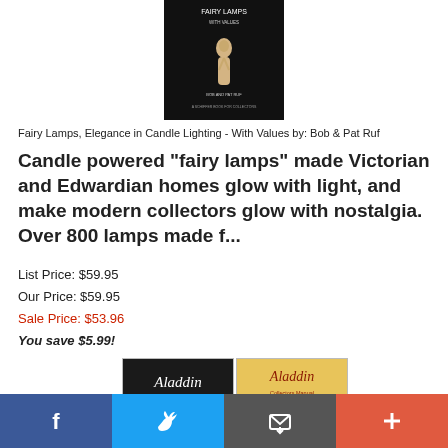[Figure (photo): Book cover: Fairy Lamps, Elegance in Candle Lighting - With Values, showing a figurine on a dark background]
Fairy Lamps, Elegance in Candle Lighting - With Values by: Bob & Pat Ruf
Candle powered "fairy lamps" made Victorian and Edwardian homes glow with light, and make modern collectors glow with nostalgia. Over 800 lamps made f...
List Price: $59.95
Our Price: $59.95
Sale Price: $53.96
You save $5.99!
ADD TO CART
[Figure (photo): Book cover: Aladdin - The Magic Name in Lamps]
[Figure (photo): Book cover: Aladdin Collectors Manual and Price Guide]